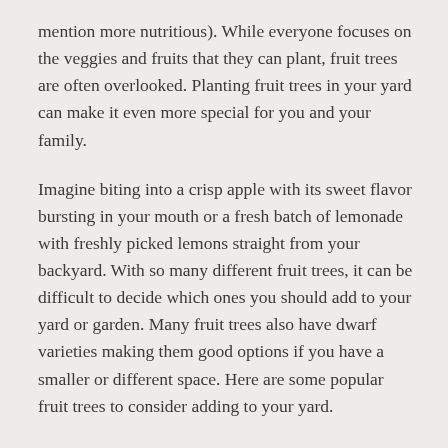mention more nutritious). While everyone focuses on the veggies and fruits that they can plant, fruit trees are often overlooked. Planting fruit trees in your yard can make it even more special for you and your family.
Imagine biting into a crisp apple with its sweet flavor bursting in your mouth or a fresh batch of lemonade with freshly picked lemons straight from your backyard. With so many different fruit trees, it can be difficult to decide which ones you should add to your yard or garden. Many fruit trees also have dwarf varieties making them good options if you have a smaller or different space. Here are some popular fruit trees to consider adding to your yard.
Apple Trees
Apples come in many varieties with some being sweet